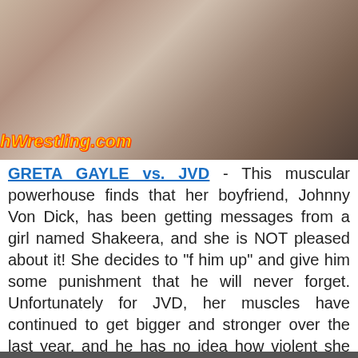[Figure (photo): A wrestling/physical altercation scene with text watermark 'hWrestling.com' overlaid in yellow/orange italic text on lower left of image]
GRETA GAYLE vs. JVD - This muscular powerhouse finds that her boyfriend, Johnny Von Dick, has been getting messages from a girl named Shakeera, and she is NOT pleased about it! She decides to "f him up" and give him some punishment that he will never forget. Unfortunately for JVD, her muscles have continued to get bigger and stronger over the last year, and he has no idea how violent she can get when pissed off. She puts those muscles to good use and absolutely CRUSHES the F outta him!
CLICK HERE
Powered by contentshowcase.app